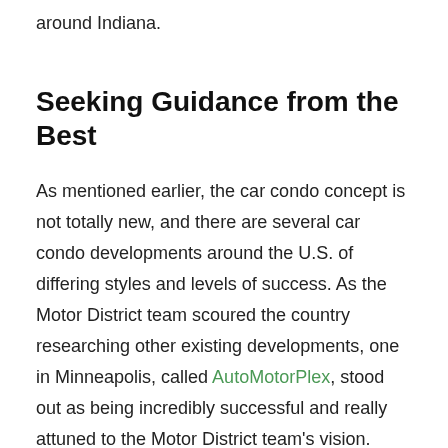around Indiana.
Seeking Guidance from the Best
As mentioned earlier, the car condo concept is not totally new, and there are several car condo developments around the U.S. of differing styles and levels of success. As the Motor District team scoured the country researching other existing developments, one in Minneapolis, called AutoMotorPlex, stood out as being incredibly successful and really attuned to the Motor District team’s vision.
The AutoMotorPlex was created and developed by